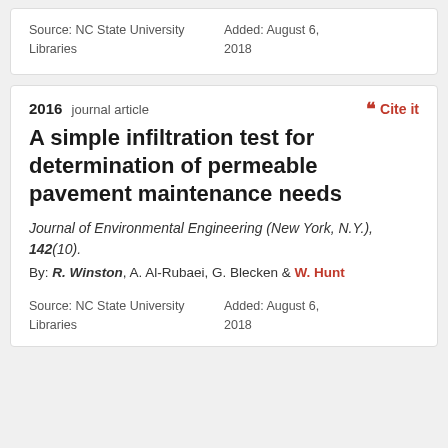Source: NC State University Libraries    Added: August 6, 2018
2016 journal article
Cite it
A simple infiltration test for determination of permeable pavement maintenance needs
Journal of Environmental Engineering (New York, N.Y.), 142(10).
By: R. Winston, A. Al-Rubaei, G. Blecken & W. Hunt
Source: NC State University Libraries    Added: August 6, 2018